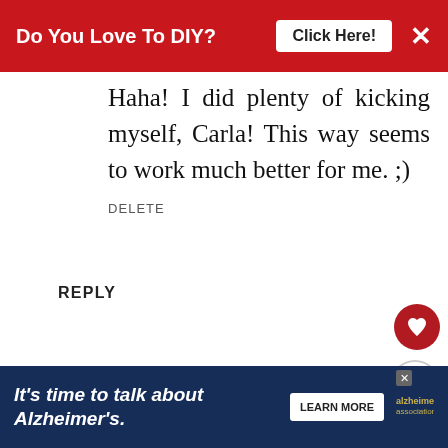Do You Love To DIY? Click Here!
Haha! I did plenty of kicking myself, Carla! This way seems to work much better for me. ;)
DELETE
REPLY
Doris
JUNE 28, 2017 AT 10:32 PM
Also remember that you don't last forever. They are meant to be disposed of in garment sewing
[Figure (other): What's Next promo box with thumbnail image and text 'My Sewing Machine Hat...']
It's time to talk about Alzheimer's. LEARN MORE